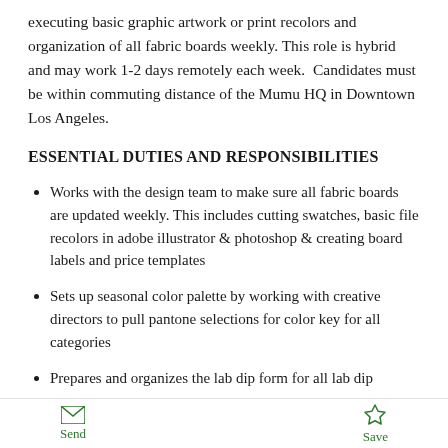executing basic graphic artwork or print recolors and organization of all fabric boards weekly. This role is hybrid and may work 1-2 days remotely each week.  Candidates must be within commuting distance of the Mumu HQ in Downtown Los Angeles.
ESSENTIAL DUTIES AND RESPONSIBILITIES
Works with the design team to make sure all fabric boards are updated weekly. This includes cutting swatches, basic file recolors in adobe illustrator & photoshop & creating board labels and price templates
Sets up seasonal color palette by working with creative directors to pull pantone selections for color key for all categories
Prepares and organizes the lab dip form for all lab dip
Send  Save